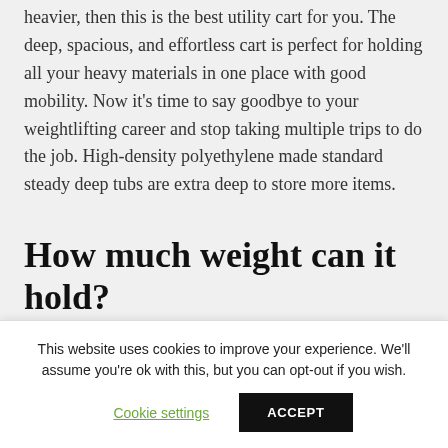heavier, then this is the best utility cart for you. The deep, spacious, and effortless cart is perfect for holding all your heavy materials in one place with good mobility. Now it's time to say goodbye to your weightlifting career and stop taking multiple trips to do the job. High-density polyethylene made standard steady deep tubs are extra deep to store more items.
How much weight can it hold?
This website uses cookies to improve your experience. We'll assume you're ok with this, but you can opt-out if you wish.